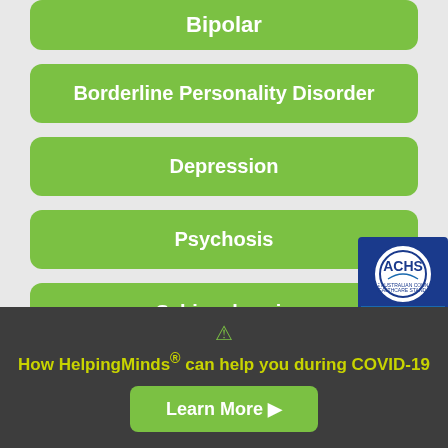Bipolar
Borderline Personality Disorder
Depression
Psychosis
Schizophrenia
[Figure (logo): ACHS NSQHS Standards Accredited badge]
How HelpingMinds® can help you during COVID-19
Learn More ▶